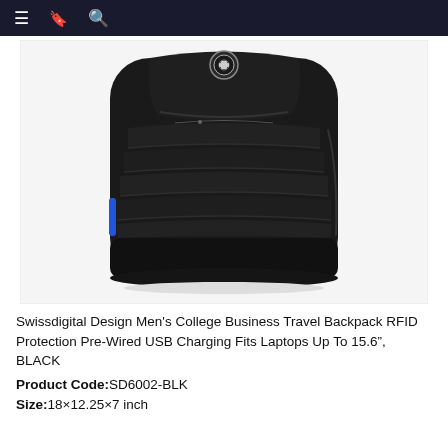[Figure (screenshot): Navigation bar with menu, bookmark, and search icons on dark background]
[Figure (photo): Black Swissdigital backpack with ribbed front panels, blue accent stripe on left side, metallic logo emblem at top, and leather-look bottom panel]
Swissdigital Design Men's College Business Travel Backpack RFID Protection Pre-Wired USB Charging Fits Laptops Up To 15.6", BLACK
Product Code:SD6002-BLK
Size:18×12.25×7 inch